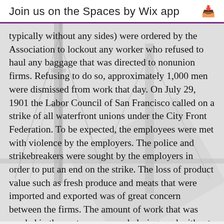Join us on the Spaces by Wix app
typically without any sides) were ordered by the Association to lockout any worker who refused to haul any baggage that was directed to nonunion firms. Refusing to do so, approximately 1,000 men were dismissed from work that day. On July 29, 1901 the Labor Council of San Francisco called on a strike of all waterfront unions under the City Front Federation. To be expected, the employees were met with violence by the employers. The police and strikebreakers were sought by the employers in order to put an end on the strike. The loss of product value such as fresh produce and meats that were imported and exported was of great concern between the firms. The amount of work that was needed in the ports was overwhelming, and without workers, employers were desperate. The employers did not show their desperation and did not acquiesce to union demands, since it was not allowed by both the Draymen's and